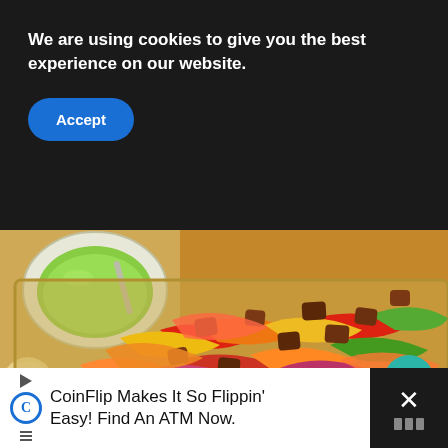We are using cookies to give you the best experience on our website.
Accept
[Figure (photo): A sheet pan filled with fajita ingredients: colorful bell pepper strips (red, orange, yellow, green), red onion strips, and chunks of seasoned browned beef/steak. A bowl of green avocado/guacamole sauce and a tortilla are visible in the upper left corner.]
1
WHAT'S NEXT →
Easy Homemade...
Privacy · Terms
CoinFlip Makes It So Flippin' Easy! Find An ATM Now.